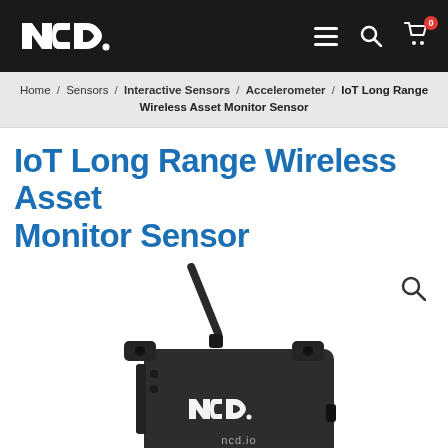[Figure (logo): NCD logo in white on black navbar, with hamburger menu, search icon, and cart icon with badge showing 0]
Home / Sensors / Interactive Sensors / Accelerometer / IoT Long Range Wireless Asset Monitor Sensor
IoT Long Range Wireless Asset Monitor Sensor
[Figure (photo): IoT Long Range Wireless Asset Monitor Sensor device with antenna, NCD logo and ncd.io branding visible on the dark grey enclosure. Zoom/search icon in top right corner of image.]